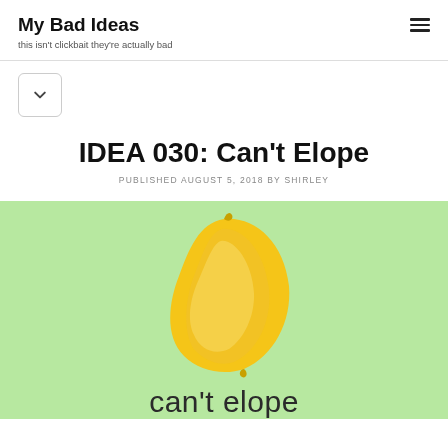My Bad Ideas
this isn't clickbait they're actually bad
IDEA 030: Can't Elope
PUBLISHED AUGUST 5, 2018 BY SHIRLEY
[Figure (illustration): Green background with a yellow banana illustration and the text 'can't elope' below it]